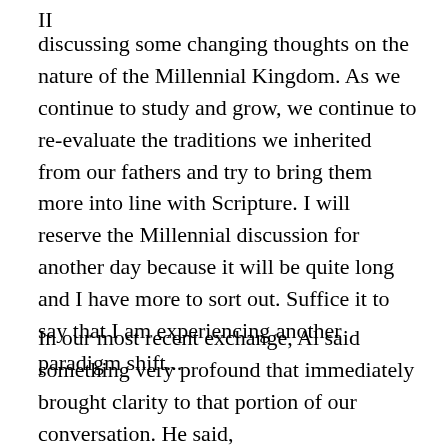II
discussing some changing thoughts on the nature of the Millennial Kingdom.  As we continue to study and grow, we continue to re-evaluate the traditions we inherited from our fathers and try to bring them more into line with Scripture.  I will reserve the Millennial discussion for another day because it will be quite long and I have more to sort out.  Suffice it to say that I am experiencing another paradigm shift...
In our most recent exchange, Al said something very profound that immediately brought clarity to that portion of our conversation.  He said,